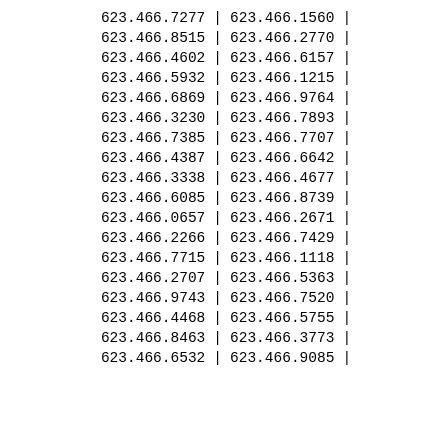| col1 | sep1 | col2 | sep2 |
| --- | --- | --- | --- |
| 623.466.7277 | | | 623.466.1560 | | |
| 623.466.8515 | | | 623.466.2770 | | |
| 623.466.4602 | | | 623.466.6157 | | |
| 623.466.5932 | | | 623.466.1215 | | |
| 623.466.6869 | | | 623.466.9764 | | |
| 623.466.3230 | | | 623.466.7893 | | |
| 623.466.7385 | | | 623.466.7707 | | |
| 623.466.4387 | | | 623.466.6642 | | |
| 623.466.3338 | | | 623.466.4677 | | |
| 623.466.6085 | | | 623.466.8739 | | |
| 623.466.0657 | | | 623.466.2671 | | |
| 623.466.2266 | | | 623.466.7429 | | |
| 623.466.7715 | | | 623.466.1118 | | |
| 623.466.2707 | | | 623.466.5363 | | |
| 623.466.9743 | | | 623.466.7520 | | |
| 623.466.4468 | | | 623.466.5755 | | |
| 623.466.8463 | | | 623.466.3773 | | |
| 623.466.6532 | | | 623.466.9085 | | |